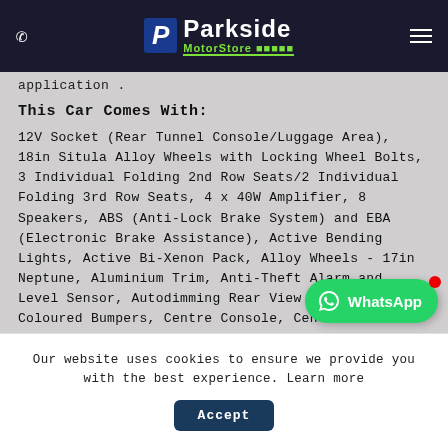Parkside MotorStore
application .
This Car Comes With:
12V Socket (Rear Tunnel Console/Luggage Area), 18in Situla Alloy Wheels with Locking Wheel Bolts, 3 Individual Folding 2nd Row Seats/2 Individual Folding 3rd Row Seats, 4 x 40W Amplifier, 8 Speakers, ABS (Anti-Lock Brake System) and EBA (Electronic Brake Assistance), Active Bending Lights, Active Bi-Xenon Pack, Alloy Wheels - 17in Neptune, Aluminium Trim, Anti-Theft Alarm and Level Sensor, Autodimming Rear View Mirror, Body Coloured Bumpers, Centre Console, Centre Rea
[Figure (other): WhatsApp contact button (green, bottom right)]
Our website uses cookies to ensure we provide you with the best experience. Learn more